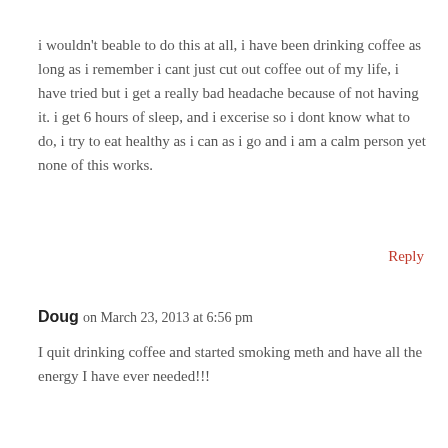i wouldn't beable to do this at all, i have been drinking coffee as long as i remember i cant just cut out coffee out of my life, i have tried but i get a really bad headache because of not having it. i get 6 hours of sleep, and i excerise so i dont know what to do, i try to eat healthy as i can as i go and i am a calm person yet none of this works.
Reply
Doug on March 23, 2013 at 6:56 pm
I quit drinking coffee and started smoking meth and have all the energy I have ever needed!!!